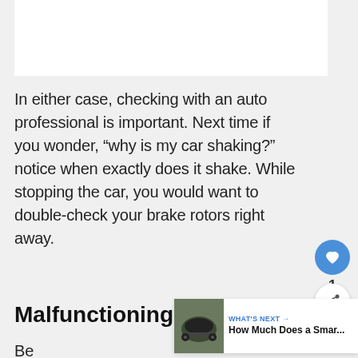[Figure (other): White rectangular image placeholder at the top of the page]
In either case, checking with an auto professional is important. Next time if you wonder, “why is my car shaking?” notice when exactly does it shake. While stopping the car, you would want to double-check your brake rotors right away.
Malfunctioning Brake Cali
Be